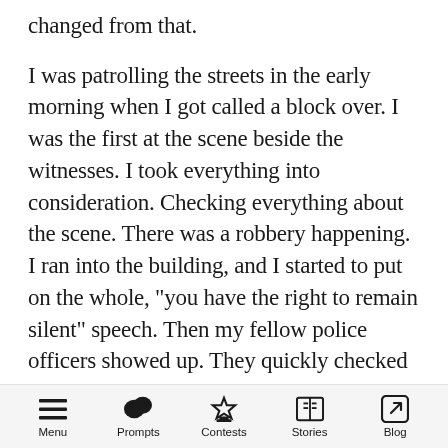changed from that.

I was patrolling the streets in the early morning when I got called a block over. I was the first at the scene beside the witnesses. I took everything into consideration. Checking everything about the scene. There was a robbery happening. I ran into the building, and I started to put on the whole, "you have the right to remain silent" speech. Then my fellow police officers showed up. They quickly checked him, and then put them in the car for further inspection. It was early but extremely hot. I rolled down the windows, and I turned into the station within five minutes. I trotted inside, waiting for the
Menu  Prompts  Contests  Stories  Blog